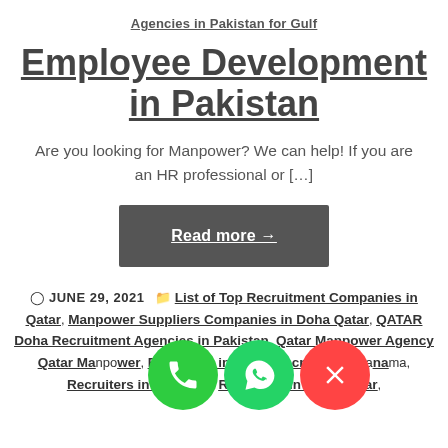Agencies in Pakistan for Gulf
Employee Development in Pakistan
Are you looking for Manpower? We can help! If you are an HR professional or […]
Read more →
JUNE 29, 2021  List of Top Recruitment Companies in Qatar, Manpower Suppliers Companies in Doha Qatar, QATAR Doha Recruitment Agencies in Pakistan, Qatar Manpower Agency Qatar Manpower, Recruiters in Abha, Recruiters in Manama, Recruiters in Al Bahah, Recruiters in Doha Qatar,